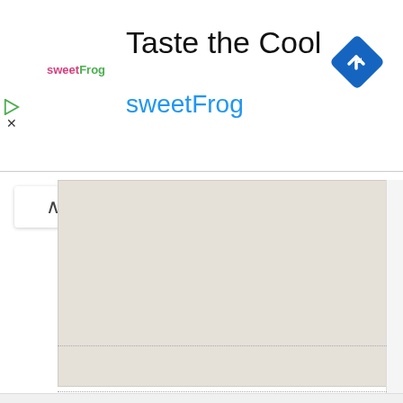[Figure (screenshot): SweetFrog advertisement banner with logo, title 'Taste the Cool', subtitle 'sweetFrog', and a blue navigation/turn arrow icon in the top right corner]
[Figure (map): Google Maps style map area showing a light gray/beige blank map tile]
[Figure (screenshot): UI collapse/chevron up button on left side]